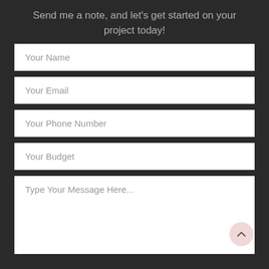Send me a note, and let's get started on your project today!
Your Name
Your Email
Your Phone Number
Your Budget
Type Your Message Here...